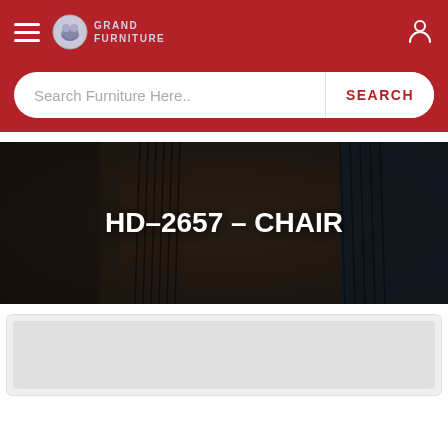Grand Furniture — Navigation header with hamburger menu, logo, and user icon
Search Furniture Here..
[Figure (screenshot): Hero banner image showing a dark photograph of a decorative fringe pillow/cushion on a chair, with overlaid white bold text reading 'HD-2657 – CHAIR']
HD-2657 – CHAIR
[Figure (photo): Partial product photo area — light gray placeholder rectangle at the bottom of the page, showing the top portion of a product image card]